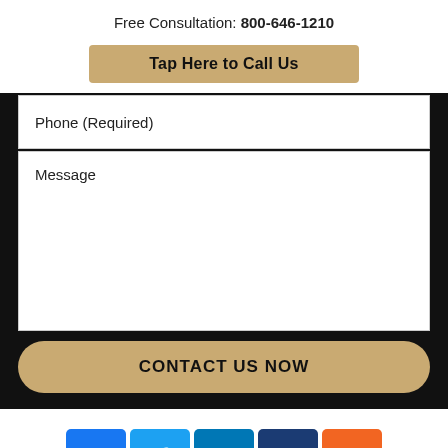Free Consultation: 800-646-1210
Tap Here to Call Us
Phone (Required)
Message
CONTACT US NOW
[Figure (illustration): Social media icons: Facebook, Twitter, LinkedIn, Justia, RSS feed]